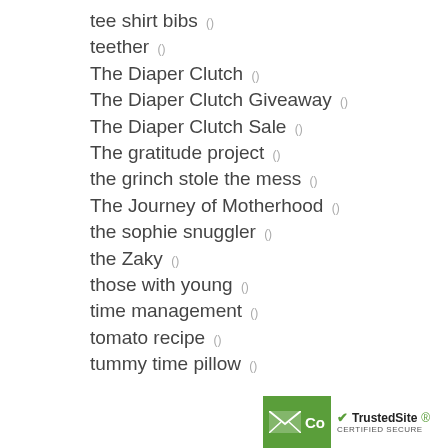tee shirt bibs ()
teether ()
The Diaper Clutch ()
The Diaper Clutch Giveaway ()
The Diaper Clutch Sale ()
The gratitude project ()
the grinch stole the mess ()
The Journey of Motherhood ()
the sophie snuggler ()
the Zaky ()
those with young ()
time management ()
tomato recipe ()
tummy time pillow ()